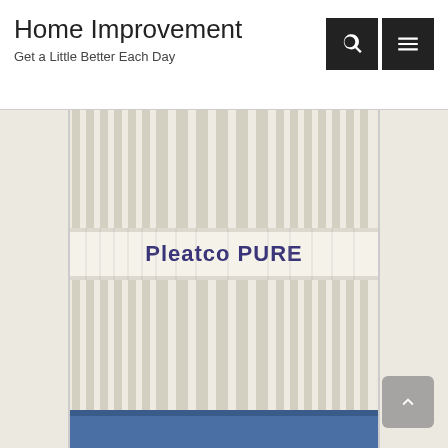Home Improvement
Get a Little Better Each Day
[Figure (photo): Close-up photograph of a Pleatco PURE cylindrical pool/spa filter cartridge showing white pleated filter media with a white band labeled 'Pleatco PURE' in dark blue text wrapped around the middle. The filter has vertical pleats and a blue base visible at the bottom.]